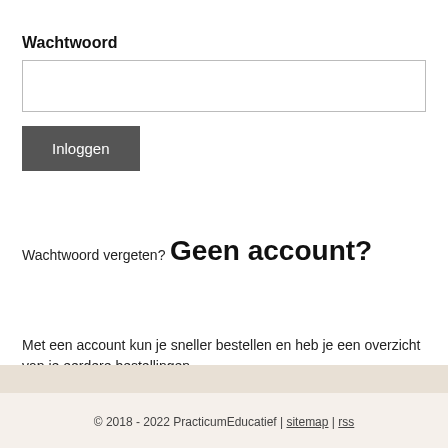Wachtwoord
[password input field]
Inloggen
Wachtwoord vergeten?
Geen account?
Met een account kun je sneller bestellen en heb je een overzicht van je eerdere bestellingen.
Account aanmaken
© 2018 - 2022 PracticumEducatief | sitemap | rss